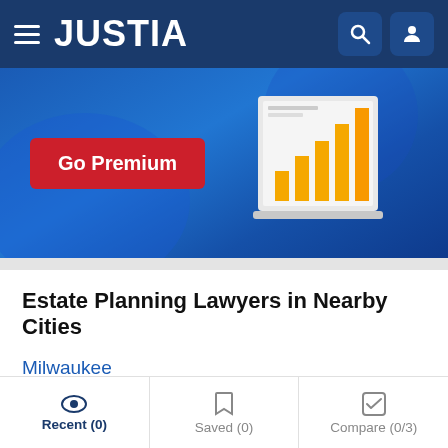JUSTIA
[Figure (screenshot): Justia Go Premium banner with a bar chart on a laptop illustration and a red 'Go Premium' button]
Estate Planning Lawyers in Nearby Cities
Milwaukee
Wauwatosa
Brookfield
New Berlin
Greenfield
Franklin
Recent (0)   Saved (0)   Compare (0/3)